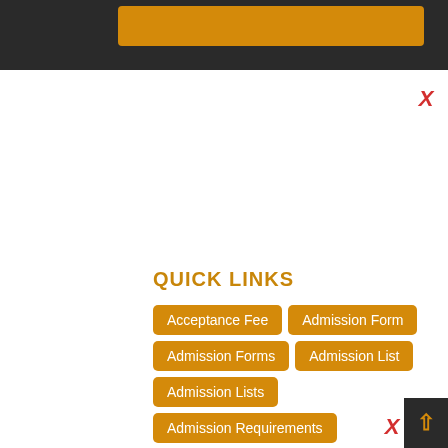[Figure (screenshot): Top black navigation bar with an orange button inside]
QUICK LINKS
Acceptance Fee
Admission Form
Admission Forms
Admission List
Admission Lists
Admission Requirements
Aggregate Cut Off Mark
Aggregate Score